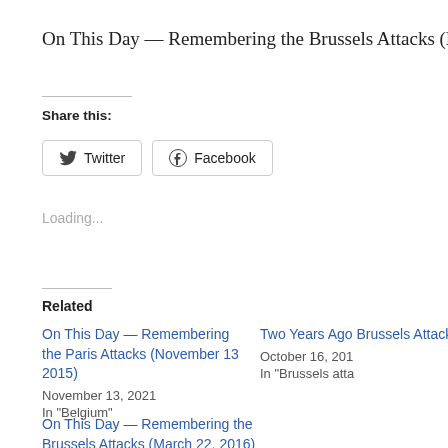On This Day — Remembering the Brussels Attacks (March 22,
Share this:
[Figure (other): Twitter and Facebook share buttons]
Loading...
Related
On This Day — Remembering the Paris Attacks (November 13 2015)
November 13, 2021
In "Belgium"
Two Years Ago Brussels Attack
October 16, 201
In "Brussels atta
On This Day — Remembering the Brussels Attacks (March 22, 2016)